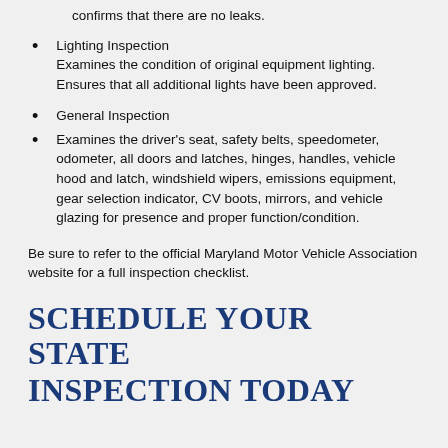confirms that there are no leaks.
Lighting Inspection
Examines the condition of original equipment lighting. Ensures that all additional lights have been approved.
General Inspection
Examines the driver's seat, safety belts, speedometer, odometer, all doors and latches, hinges, handles, vehicle hood and latch, windshield wipers, emissions equipment, gear selection indicator, CV boots, mirrors, and vehicle glazing for presence and proper function/condition.
Be sure to refer to the official Maryland Motor Vehicle Association website for a full inspection checklist.
SCHEDULE YOUR STATE INSPECTION TODAY